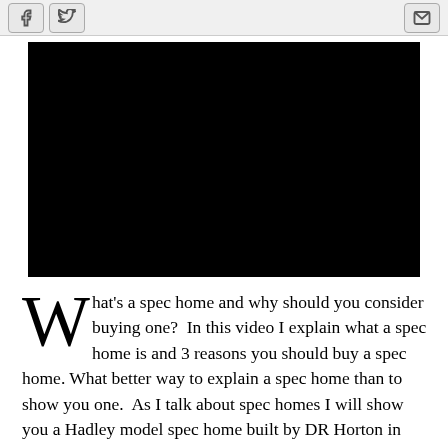[Social share toolbar: Facebook, Twitter, Email icons]
[Figure (screenshot): Black video player embed area]
What's a spec home and why should you consider buying one? In this video I explain what a spec home is and 3 reasons you should buy a spec home. What better way to explain a spec home than to show you one. As I talk about spec homes I will show you a Hadley model spec home built by DR Horton in their Harbor Pines community located in Egg Harbor